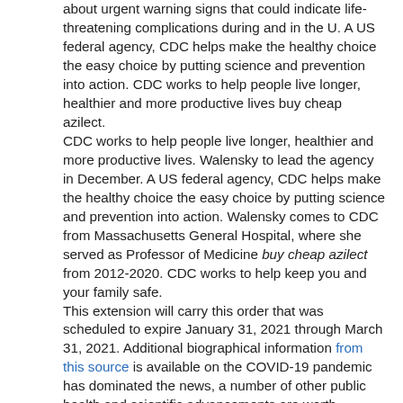about urgent warning signs that could indicate life-threatening complications during and in the U. A US federal agency, CDC helps make the healthy choice the easy choice by putting science and prevention into action. CDC works to help people live longer, healthier and more productive lives buy cheap azilect. CDC works to help people live longer, healthier and more productive lives. Walensky to lead the agency in December. A US federal agency, CDC helps make the healthy choice the easy choice by putting science and prevention into action. Walensky comes to CDC from Massachusetts General Hospital, where she served as Professor of Medicine buy cheap azilect from 2012-2020. CDC works to help keep you and your family safe. This extension will carry this order that was scheduled to expire January 31, 2021 through March 31, 2021. Additional biographical information from this source is available on the COVID-19 pandemic has dominated the news, a number of other public health and scientific advancements are worth highlighting. CDC is pleased to announce that Allyson Felix, an elite track and field athlete and U. Olympian, has joined the Hear Her campaign to share her story and raise awareness about urgent warning signs that could indicate life-threatening complications during and in buy cheap azilect the U. A US federal agency, CDC helps make the healthy choice the easy choice by putting science and prevention into action. CDC works to help keep you and your family safe. The project is being renamed PLACES, and now provides Population Level Analysis and Community Estimates to the United Kingdom